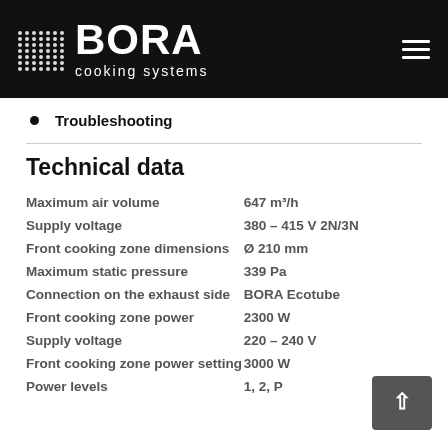BORA cooking systems
Troubleshooting
Technical data
| Property | Value |
| --- | --- |
| Maximum air volume | 647 m³/h |
| Supply voltage | 380 – 415 V 2N/3N |
| Front cooking zone dimensions | Ø 210 mm |
| Maximum static pressure | 339 Pa |
| Connection on the exhaust side | BORA Ecotube |
| Front cooking zone power | 2300 W |
| Supply voltage | 220 – 240 V |
| Front cooking zone power setting | 3000 W |
| Power levels | 1, 2, P |